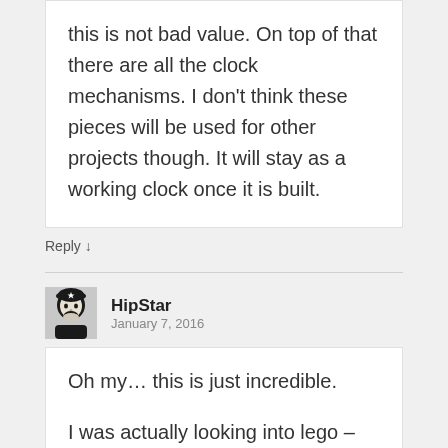this is not bad value. On top of that there are all the clock mechanisms. I don't think these pieces will be used for other projects though. It will stay as a working clock once it is built.
Reply ↓
HipStar
January 7, 2016
Oh my… this is just incredible.

I was actually looking into lego – some of my friends (we are in our 30's) have started